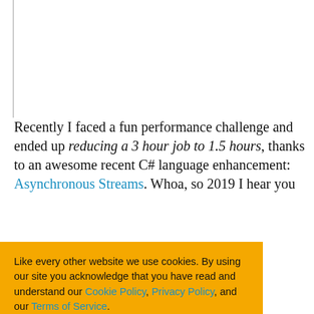Recently I faced a fun performance challenge and ended up reducing a 3 hour job to 1.5 hours, thanks to an awesome recent C# language enhancement: Asynchronous Streams. Whoa, so 2019 I hear you … nes and … ou really … eans? I hadn't. … ynchronous … problem they … nmon pitfalls … n.
Like every other website we use cookies. By using our site you acknowledge that you have read and understand our Cookie Policy, Privacy Policy, and our Terms of Service. Learn more
Ask me later   Decline   Allow cookies